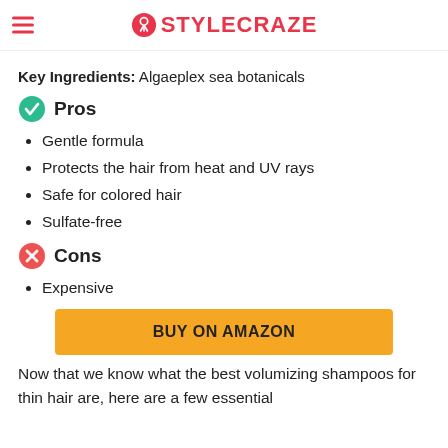STYLECRAZE
Key Ingredients: Algaeplex sea botanicals
Pros
Gentle formula
Protects the hair from heat and UV rays
Safe for colored hair
Sulfate-free
Cons
Expensive
BUY ON AMAZON
Now that we know what the best volumizing shampoos for thin hair are, here are a few essential